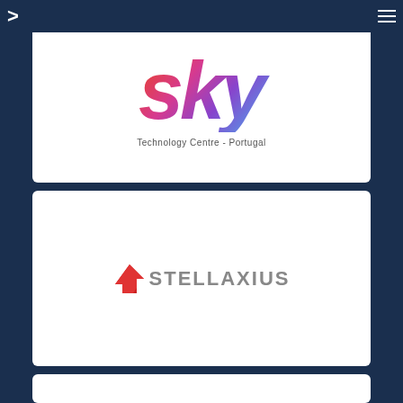navigation header with arrow logo and menu icon
[Figure (logo): Sky Technology Centre - Portugal logo with colorful gradient sky text and subtitle]
[Figure (logo): Stellaxius logo with red star/arrow icon and grey bold text]